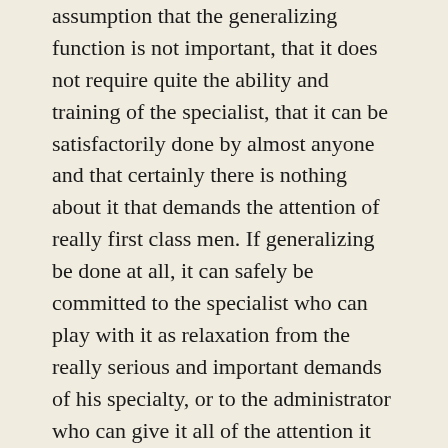assumption that the generalizing function is not important, that it does not require quite the ability and training of the specialist, that it can be satisfactorily done by almost anyone and that certainly there is nothing about it that demands the attention of really first class men. If generalizing be done at all, it can safely be committed to the specialist who can play with it as relaxation from the really serious and important demands of his specialty, or to the administrator who can give it all of the attention it requires between telephone calls and committee meetings.
"All of this, I suppose, leads to the conclusion that in agricultural economics we need another specialist, that is a "specialist" who is a "generalist." We need to make a place for the trained economist of highest ability who will be free from administrative demands as well as free from the tyranny of specialization, who will have the job of keeping abreast of the results of the various specialists and who can spend a good